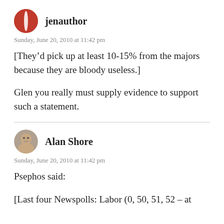[Figure (illustration): Round avatar of jenauthor — dark red/maroon circular logo with a white stripe]
jenauthor
Sunday, June 20, 2010 at 11:42 pm
[They’d pick up at least 10-15% from the majors because they are bloody useless.]
Glen you really must supply evidence to support such a statement.
[Figure (illustration): Round avatar of Alan Shore — photo of a man]
Alan Shore
Sunday, June 20, 2010 at 11:42 pm
Psephos said:
[Last four Newspolls: Labor (0, 50, 51, 52 – at